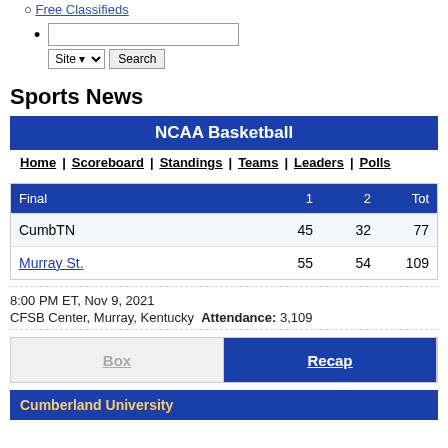Free Classifieds
Sports News
| Final | 1 | 2 | Tot |
| --- | --- | --- | --- |
| CumbTN | 45 | 32 | 77 |
| Murray St. | 55 | 54 | 109 |
8:00 PM ET, Nov 9, 2021
CFSB Center, Murray, Kentucky  Attendance: 3,109
Box | Recap
Cumberland University